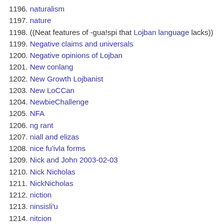1196. naturalism
1197. nature
1198. ((Neat features of -gua!spi that Lojban language lacks))
1199. Negative claims and universals
1200. Negative opinions of Lojban
1201. New conlang
1202. New Growth Lojbanist
1203. New LoCCan
1204. NewbieChallenge
1205. NFA
1206. ng rant
1207. niall and elizas
1208. nice fu'ivla forms
1209. Nick and John 2003-02-03
1210. Nick Nicholas
1211. NickNicholas
1212. niction
1213. ninsisli'u
1214. nitcion
1215. no'au
1216. noda